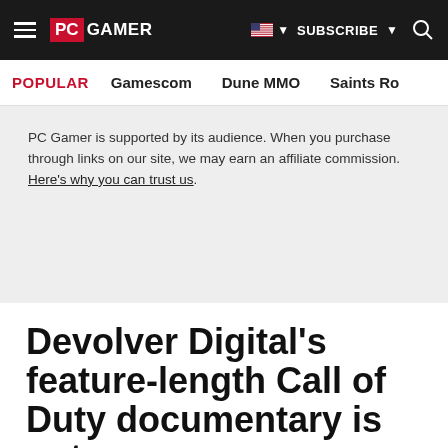PC GAMER | SUBSCRIBE | Search
POPULAR   Gamescom   Dune MMO   Saints Ro
PC Gamer is supported by its audience. When you purchase through links on our site, we may earn an affiliate commission. Here's why you can trust us.
Devolver Digital's feature-length Call of Duty documentary is out now